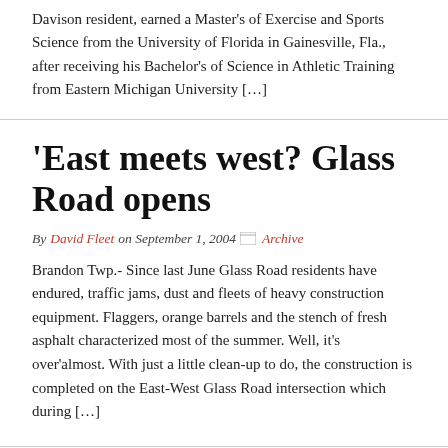Davison resident, earned a Master's of Exercise and Sports Science from the University of Florida in Gainesville, Fla., after receiving his Bachelor's of Science in Athletic Training from Eastern Michigan University […]
'East meets west? Glass Road opens
By David Fleet on September 1, 2004  Archive
Brandon Twp.- Since last June Glass Road residents have endured, traffic jams, dust and fleets of heavy construction equipment. Flaggers, orange barrels and the stench of fresh asphalt characterized most of the summer. Well, it's over'almost. With just a little clean-up to do, the construction is completed on the East-West Glass Road intersection which during […]